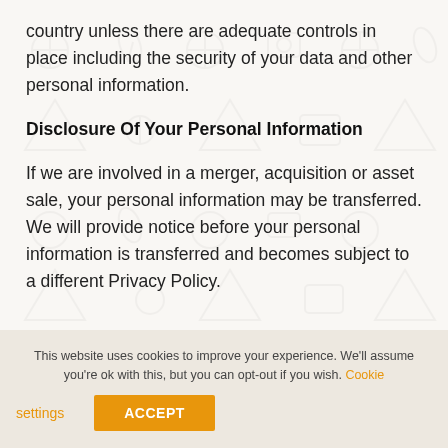country unless there are adequate controls in place including the security of your data and other personal information.
Disclosure Of Your Personal Information
If we are involved in a merger, acquisition or asset sale, your personal information may be transferred. We will provide notice before your personal information is transferred and becomes subject to a different Privacy Policy.
This website uses cookies to improve your experience. We'll assume you're ok with this, but you can opt-out if you wish. Cookie settings ACCEPT